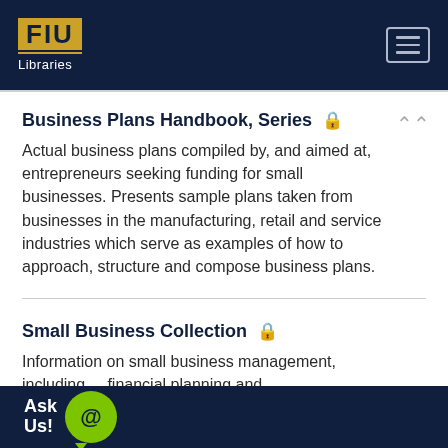[Figure (logo): FIU Libraries logo on dark navy header with hamburger menu button]
Business Plans Handbook, Series 🔒
Actual business plans compiled by, and aimed at, entrepreneurs seeking funding for small businesses. Presents sample plans taken from businesses in the manufacturing, retail and service industries which serve as examples of how to approach, structure and compose business plans.
Small Business Collection 🔒
Information on small business management, including ... financial planning and
Ask Us! @